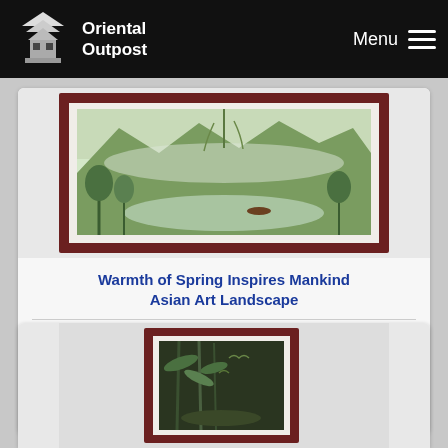Oriental Outpost | Menu
[Figure (illustration): Framed Asian landscape painting showing mountains, water, and trees in green tones]
Warmth of Spring Inspires Mankind Asian Art Landscape
Gallery Price: $400.00
Your Price: $138.88
More Info
[Figure (illustration): Framed Asian art painting showing birds, flowers and bamboo in dark tones]